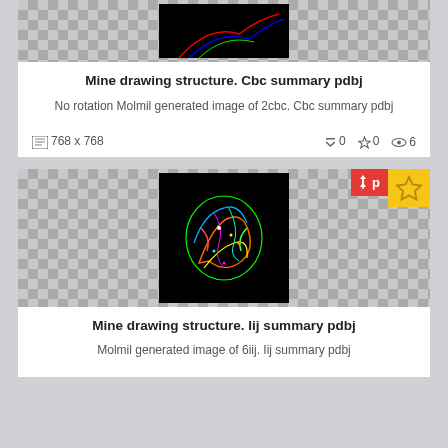[Figure (illustration): Molecular structure image on black background (2cbc) shown partially at top of page]
Mine drawing structure. Cbc summary pdbj
No rotation Molmil generated image of 2cbc. Cbc summary pdbj
768 x 768   ⬇0  ☆0  👁6
[Figure (illustration): Molecular structure image of 6iij on black background, colorful protein ribbon diagram]
Mine drawing structure. Iij summary pdbj
Molmil generated image of 6iij. Iij summary pdbj